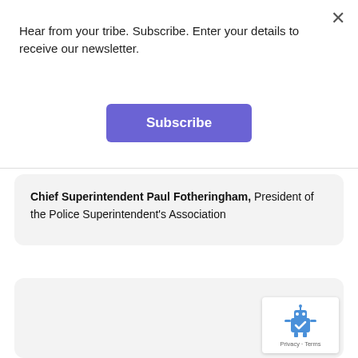Hear from your tribe. Subscribe. Enter your details to receive our newsletter.
Subscribe
Chief Superintendent Paul Fotheringham, President of the Police Superintendent's Association
[Figure (other): reCAPTCHA badge with robot icon and Privacy · Terms text]